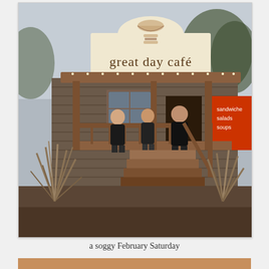[Figure (photo): Exterior photograph of 'great day café' on a rainy day. A small rustic building with cedar shingle siding and a large cream-colored sign reading 'great day café' with a logo of a soup bowl and sandwich. A covered front porch with string lights and wooden railings, wooden steps. Three people dressed in black stand on the porch. Large ornamental grasses flank the entrance. A red sign on the right partially reads 'sandwiches, salads, soups'. Overcast gray sky visible behind trees.]
a soggy February Saturday